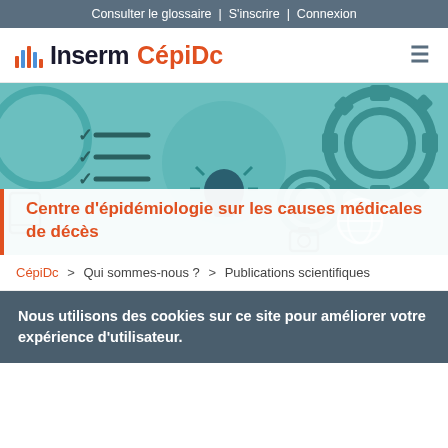Consulter le glossaire | S'inscrire | Connexion
[Figure (logo): Inserm CépiDc logo with colored bar chart icon and hamburger menu icon]
[Figure (illustration): Teal/cyan hero banner with gears, checklist, lightbulb, globe, camera icons in flat design style]
Centre d'épidémiologie sur les causes médicales de décès
CépiDc > Qui sommes-nous ? > Publications scientifiques
Nous utilisons des cookies sur ce site pour améliorer votre expérience d'utilisateur.